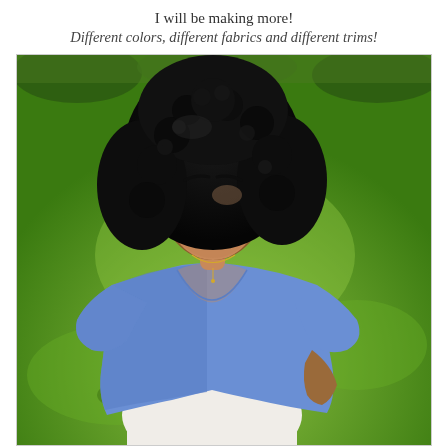I will be making more!
Different colors, different fabrics and different trims!
[Figure (photo): A smiling woman with voluminous curly black hair, wearing a blue wrap-style top with short sleeves, standing outdoors on a grass lawn. She is posing with one hand on her hip and looking upward with a bright smile. Gold hoop earrings and a delicate gold necklace are visible.]